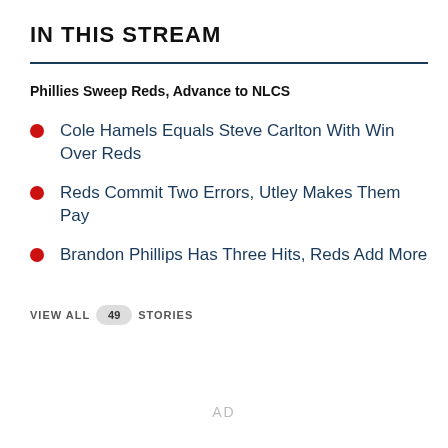IN THIS STREAM
Phillies Sweep Reds, Advance to NLCS
Cole Hamels Equals Steve Carlton With Win Over Reds
Reds Commit Two Errors, Utley Makes Them Pay
Brandon Phillips Has Three Hits, Reds Add More
VIEW ALL 49 STORIES
AD